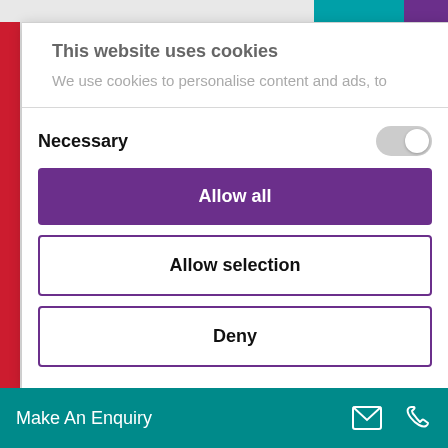[Figure (screenshot): Top navigation bar with teal and purple buttons on the right]
This website uses cookies
We use cookies to personalise content and ads, to
Necessary
Allow all
Allow selection
Deny
Make An Enquiry